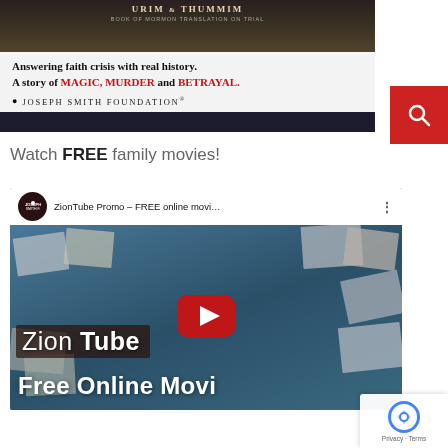[Figure (photo): Advertisement banner for 'Urim & Thummim' book by Joseph Smith Foundation. Dark background with text: 'Answering faith crisis with real history. A story of MAGIC, MURDER and BETRAYAL.' with Joseph Smith Foundation logo.]
Watch FREE family movies!
[Figure (screenshot): YouTube video thumbnail for 'ZionTube Promo - FREE online movi...' showing scattered movie frames on a blue background with YouTube play button. Large text overlay reads 'Zion Tube' and 'Free Online Movi[es]'. Joseph Smith Foundation channel logo visible.]
[Figure (logo): Google reCAPTCHA badge in bottom-right corner with Privacy and Terms links.]